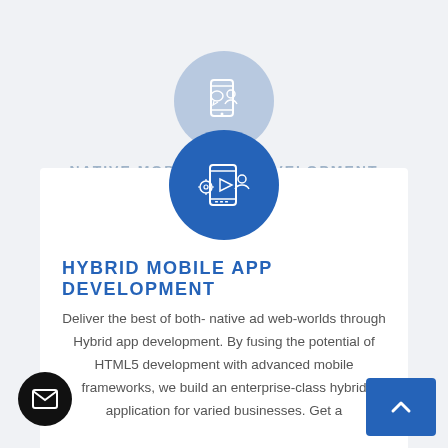[Figure (illustration): Faded light-blue circle with a mobile app icon (phone with user/chat icon) — representing the Native Mobile App Development section above]
NATIVE MOBILE APP DEVELOPMENT
[Figure (illustration): Solid blue circle with white outline icons of a smartphone with gears/play button and a user icon — representing Hybrid Mobile App Development]
HYBRID MOBILE APP DEVELOPMENT
Deliver the best of both- native ad web-worlds through Hybrid app development. By fusing the potential of HTML5 development with advanced mobile frameworks, we build an enterprise-class hybrid application for varied businesses. Get a